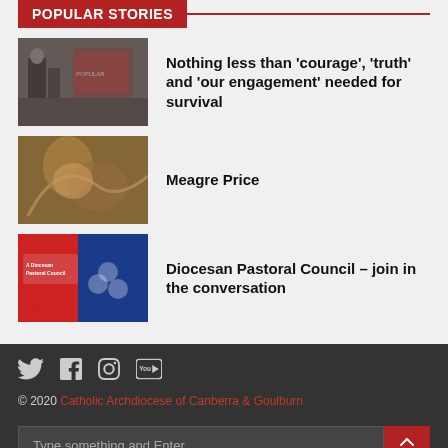POPULAR STORIES
[Figure (photo): Photo of a person at a podium with red banners]
Nothing less than ‘courage’, ‘truth’ and ‘our engagement’ needed for survival
[Figure (photo): Painting or fresco of a biblical scene]
Meagre Price
[Figure (photo): Graphic for A Diocesan Pastoral Council with puzzle pieces]
Diocesan Pastoral Council – join in the conversation
© 2020 Catholic Archdiocese of Canberra & Goulburn
Type something and Enter